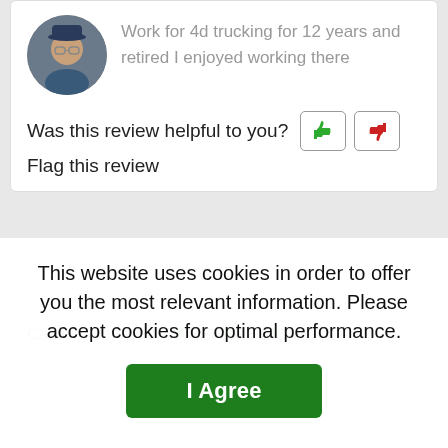Work for 4d trucking for 12 years and retired I enjoyed working there
Was this review helpful to you?  Flag this review
Calvin Gomez for CAREFREE MOVERS
This website uses cookies in order to offer you the most relevant information. Please accept cookies for optimal performance.
I Agree